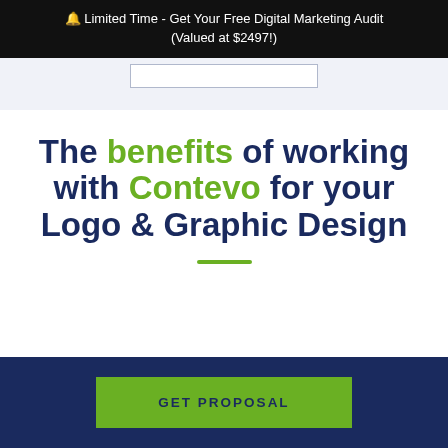🔔 Limited Time - Get Your Free Digital Marketing Audit (Valued at $2497!)
The benefits of working with Contevo for your Logo & Graphic Design
GET PROPOSAL